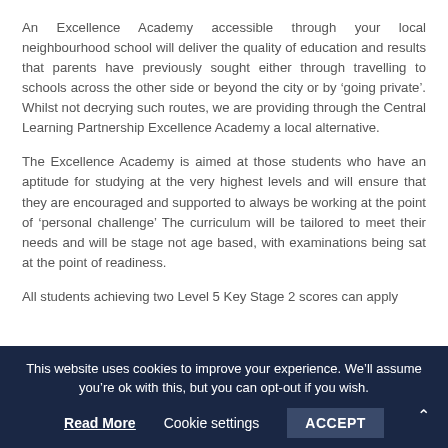An Excellence Academy accessible through your local neighbourhood school will deliver the quality of education and results that parents have previously sought either through travelling to schools across the other side or beyond the city or by ‘going private’. Whilst not decrying such routes, we are providing through the Central Learning Partnership Excellence Academy a local alternative.
The Excellence Academy is aimed at those students who have an aptitude for studying at the very highest levels and will ensure that they are encouraged and supported to always be working at the point of ‘personal challenge’ The curriculum will be tailored to meet their needs and will be stage not age based, with examinations being sat at the point of readiness.
All students achieving two Level 5 Key Stage 2 scores can apply
This website uses cookies to improve your experience. We’ll assume you’re ok with this, but you can opt-out if you wish.
Read More   Cookie settings   ACCEPT